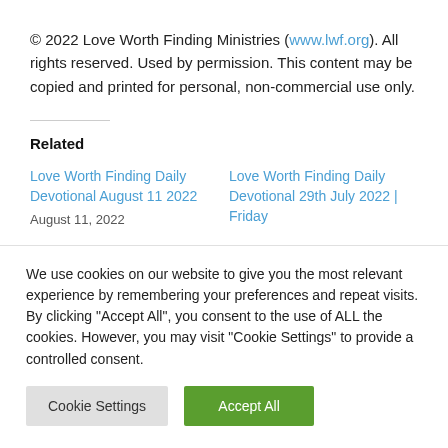© 2022 Love Worth Finding Ministries (www.lwf.org). All rights reserved. Used by permission. This content may be copied and printed for personal, non-commercial use only.
Related
Love Worth Finding Daily Devotional August 11 2022 — August 11, 2022
Love Worth Finding Daily Devotional 29th July 2022 | Friday
We use cookies on our website to give you the most relevant experience by remembering your preferences and repeat visits. By clicking "Accept All", you consent to the use of ALL the cookies. However, you may visit "Cookie Settings" to provide a controlled consent.